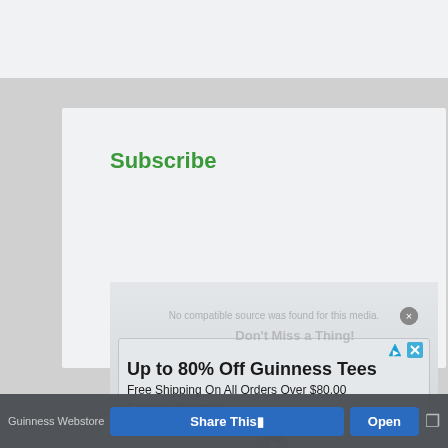Subscribe
[Figure (screenshot): Video embed area with 'No compatible source was found for this media' error message]
[Figure (screenshot): Advertisement overlay: 'Don't Miss a Thing!' header with ad for Up to 80% Off Guinness Tees, Free Shipping On All Orders Over $80.00, from Guinness Webstore]
Don't Miss a Thing!
Up to 80% Off Guinness Tees
Free Shipping On All Orders Over $80.00
Guinness Webstore
Share This
Open